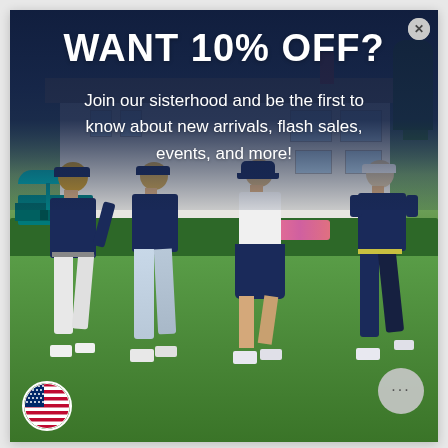WANT 10% OFF?
Join our sisterhood and be the first to know about new arrivals, flash sales, events, and more!
[Figure (photo): Four women in navy golf attire walking on a golf course in front of a white clubhouse building, with a golf cart visible on the left. They are wearing coordinated navy and white outfits with visors and caps.]